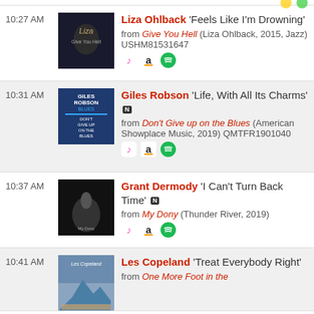10:27 AM — Liza Ohlback 'Feels Like I'm Drowning' from Give You Hell (Liza Ohlback, 2015, Jazz) USHM81531647
10:31 AM — Giles Robson 'Life, With All Its Charms' N from Don't Give up on the Blues (American Showplace Music, 2019) QMTFR1901040
10:37 AM — Grant Dermody 'I Can't Turn Back Time' N from My Dony (Thunder River, 2019)
10:41 AM — Les Copeland 'Treat Everybody Right' from One More Foot in the...